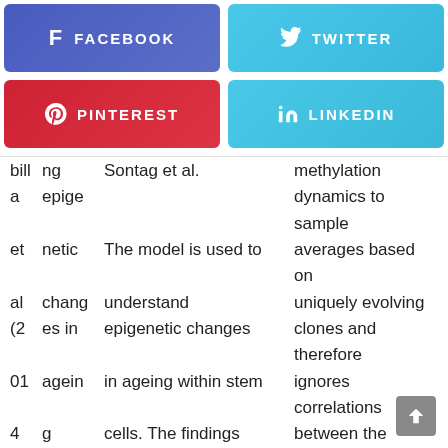[Figure (infographic): Social media share buttons: Facebook (blue-purple), Twitter (light blue), Pinterest (red), LinkedIn (light blue)]
bill ng Sontag et al. methylation a epige dynamics to sample et netic The model is used to averages based on al chang understand uniquely evolving (2 es in epigenetic changes clones and therefore 01 agein in ageing within stem ignores correlations 4 g cells. The findings between the clones. stem showed that homing cells of stem cells niche – a slows down comp epigenetic ageing.